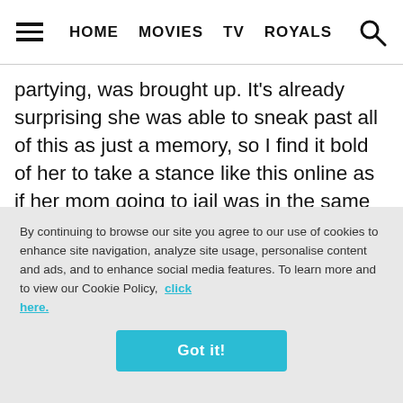HOME  MOVIES  TV  ROYALS
partying, was brought up. It's already surprising she was able to sneak past all of this as just a memory, so I find it bold of her to take a stance like this online as if her mom going to jail was in the same vein as saying Olivia is only famous because her mom was on Full House. Olivia's
By continuing to browse our site you agree to our use of cookies to enhance site navigation, analyze site usage, personalise content and ads, and to enhance social media features. To learn more and to view our Cookie Policy,  click here.
Got it!